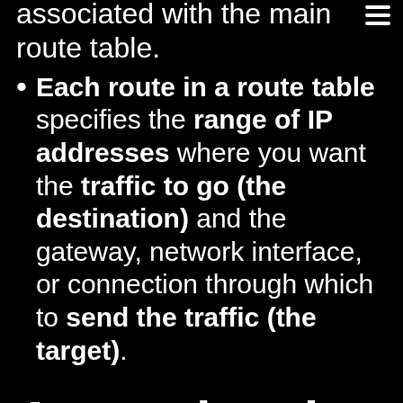associated with the main route table.
Each route in a route table specifies the range of IP addresses where you want the traffic to go (the destination) and the gateway, network interface, or connection through which to send the traffic (the target).
Accessing the Internet
You control how the instances that you launch into a VPC access resources